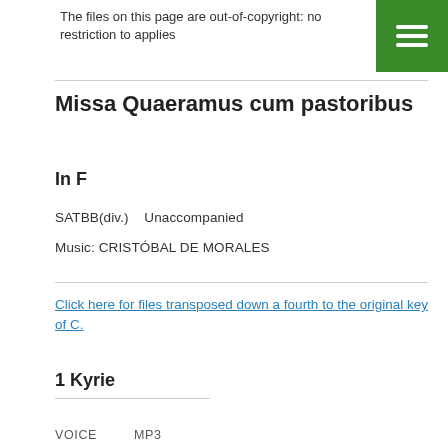The files on this page are out-of-copyright: no restriction to applies
Missa Quaeramus cum pastoribus
In F
SATBB(div.)    Unaccompanied
Music: CRISTÓBAL DE MORALES
Click here for files transposed down a fourth to the original key of C.
1 Kyrie
VOICE        MP3